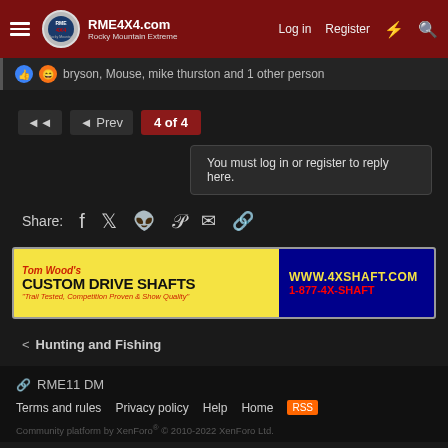RME4X4.com Rocky Mountain Extreme | Log in | Register
bryson, Mouse, mike thurston and 1 other person
◄  ◄ Prev  4 of 4
You must log in or register to reply here.
Share:
[Figure (other): Tom Wood's Custom Drive Shafts advertisement banner. Text: Tom Wood's CUSTOM DRIVE SHAFTS, Trail Tested, Competition Proven & Show Quality. WWW.4XSHAFT.COM 1-877-4X-SHAFT]
< Hunting and Fishing
RME11 DM | Terms and rules | Privacy policy | Help | Home | Community platform by XenForo® © 2010-2022 XenForo Ltd.